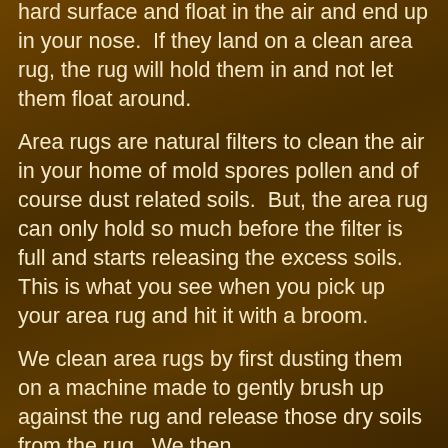hard surface and float in the air and end up in your nose. If they land on a clean area rug, the rug will hold them in and not let them float around.
Area rugs are natural filters to clean the air in your home of mold spores pollen and of course dust related soils. But, the area rug can only hold so much before the filter is full and starts releasing the excess soils. This is what you see when you pick up your area rug and hit it with a broom.
We clean area rugs by first dusting them on a machine made to gently brush up against the rug and release those dry soils from the rug. We then